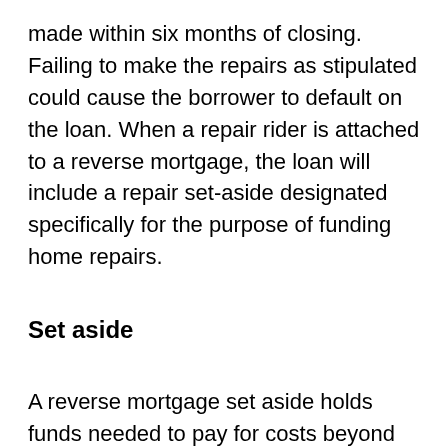made within six months of closing. Failing to make the repairs as stipulated could cause the borrower to default on the loan. When a repair rider is attached to a reverse mortgage, the loan will include a repair set-aside designated specifically for the purpose of funding home repairs.
Set aside
A reverse mortgage set aside holds funds needed to pay for costs beyond the principal and interest of the loan, similar to an escrow account on a standard mortgage. Set-asides